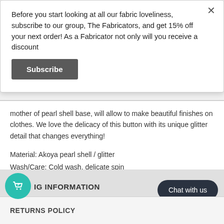Before you start looking at all our fabric loveliness, subscribe to our group, The Fabricators, and get 15% off your next order! As a Fabricator not only will you receive a discount
Subscribe
mother of pearl shell base, will allow to make beautiful finishes on clothes. We love the delicacy of this button with its unique glitter detail that changes everything!
Material: Akoya pearl shell / glitter
Wash/Care: Cold wash, delicate spin
Made in France
Oeko Textile certified
IG INFORMATION
Chat with us
RETURNS POLICY